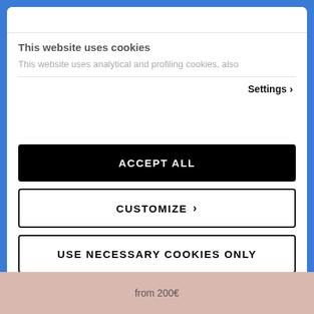This website uses cookies
This website uses analytical and profiling cookies, also
Settings
ACCEPT ALL
CUSTOMIZE
USE NECESSARY COOKIES ONLY
Powered by Cookiebot by Usercentrics
from 200€